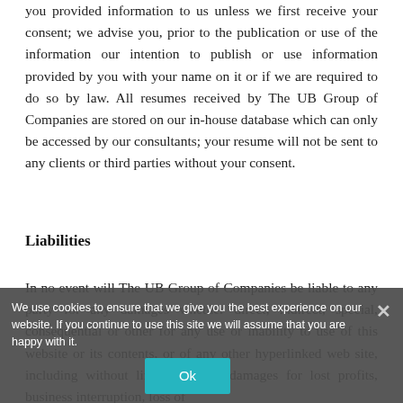you provided information to us unless we first receive your consent; we advise you, prior to the publication or use of the information our intention to publish or use information provided by you with your name on it or if we are required to do so by law. All resumes received by The UB Group of Companies are stored on our in-house database which can only be accessed by our consultants; your resume will not be sent to any clients or third parties without your consent.
Liabilities
In no event will The UB Group of Companies be liable to any party for any damages whether direct, indirect, special, consequential or other for any use or inability to use of this website or its contents, or of any other hyperlinked web site, including without limitation, any damages for lost profits, business interruption, loss of
We use cookies to ensure that we give you the best experience on our website. If you continue to use this site we will assume that you are happy with it.